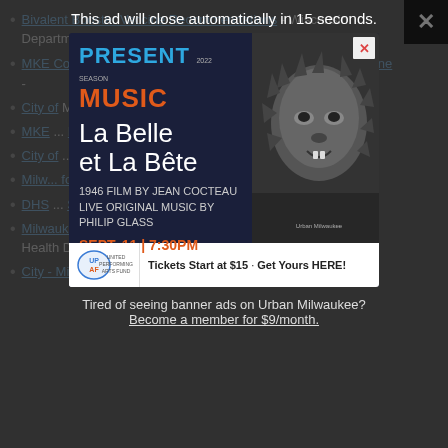Bivalent Booster Vaccine Recommendations - Wisconsin Department of Health Services - Sep 1st, 2022
MKE County: Milwaukee Reflects Nationwide COVID-19 Decline
City of Milwaukee Health Department - City of Milwaukee
MKE ... High - Graham...
City of ... City of Milwaukee
Milwaukee ... for Week of ... Aug 19th, 2022
DHS ... School Year - W... Aug 15th, 2022
Milwaukee ... Novavax COVID-19 Vaccine - City of Milwaukee Health Department - Aug 9th, 2022
[Figure (screenshot): Advertisement popup for Present Music 2022 Season - La Belle et La Bete, 1946 film by Jean Cocteau, Live Original Music by Philip Glass, Sept. 11 | 7:30PM @ Milwaukee Art Museum. Tickets Start at $15. Get Yours HERE! With UPAF logo. Ad timer: This ad will close automatically in 15 seconds. Tired of seeing banner ads on Urban Milwaukee? Become a member for $9/month.]
This ad will close automatically in 15 seconds.
Tired of seeing banner ads on Urban Milwaukee?
Become a member for $9/month.